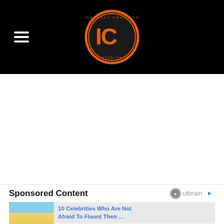IC (logo) with hamburger menu
[Figure (other): Advertisement/empty white space area]
Sponsored Content
[Figure (other): Outbrain logo]
[Figure (photo): Sponsored content card showing celebrities on beach with text: 10 Celebrities Who Are Not Afraid To Flaunt Their ...]